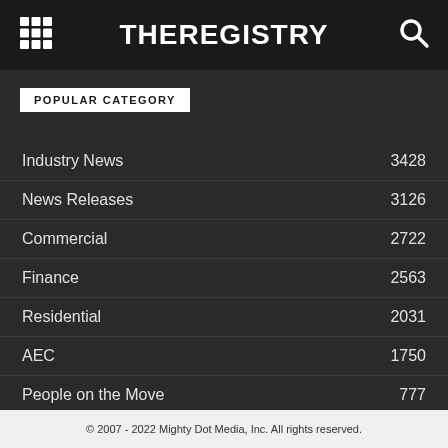THEREGISTRY
POPULAR CATEGORY
Industry News 3428
News Releases 3126
Commercial 2722
Finance 2563
Residential 2031
AEC 1750
People on the Move 777
© 2007 - 2022 Mighty Dot Media, Inc. All rights reserved.